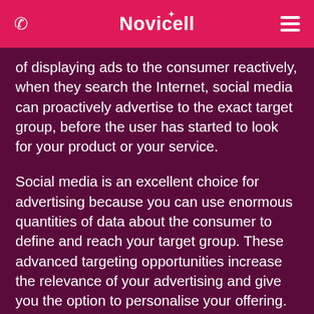Novicell
of displaying ads to the consumer reactively, when they search the Internet, social media can proactively advertise to the exact target group, before the user has started to look for your product or your service.
Social media is an excellent choice for advertising because you can use enormous quantities of data about the consumer to define and reach your target group. These advanced targeting opportunities increase the relevance of your advertising and give you the option to personalise your offering. Social media is also an important advertising channel because it provides reliable conversion tracking, excellent user experiences on mobile units and many exciting advertising formats.